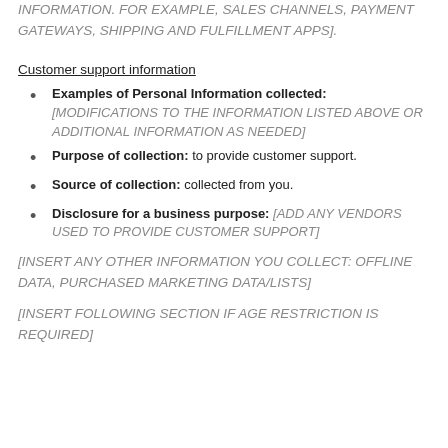INFORMATION. FOR EXAMPLE, SALES CHANNELS, PAYMENT GATEWAYS, SHIPPING AND FULFILLMENT APPS].
Customer support information
Examples of Personal Information collected: [MODIFICATIONS TO THE INFORMATION LISTED ABOVE OR ADDITIONAL INFORMATION AS NEEDED]
Purpose of collection: to provide customer support.
Source of collection: collected from you.
Disclosure for a business purpose: [ADD ANY VENDORS USED TO PROVIDE CUSTOMER SUPPORT]
[INSERT ANY OTHER INFORMATION YOU COLLECT: OFFLINE DATA, PURCHASED MARKETING DATA/LISTS]
[INSERT FOLLOWING SECTION IF AGE RESTRICTION IS REQUIRED]